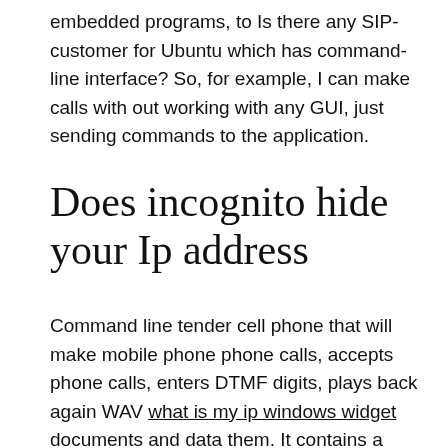embedded programs, to Is there any SIP-customer for Ubuntu which has command-line interface? So, for example, I can make calls with out working with any GUI, just sending commands to the application.
Does incognito hide your Ip address
Command line tender cell phone that will make mobile phone phone calls, accepts phone calls, enters DTMF digits, plays back again WAV what is my ip windows widget documents and data them. It contains a handful of fundamental SipStone user agent eventualities (UAC and UAS) and